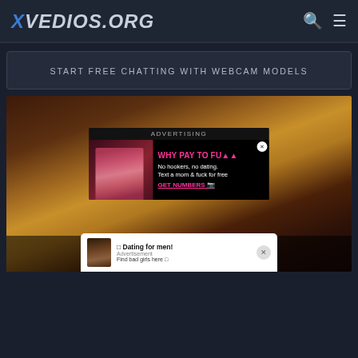XVEDIOS.ORG
START FREE CHATTING WITH WEBCAM MODELS
[Figure (screenshot): Video thumbnail showing a person with a golden headpiece, close-up blurred face. An advertising overlay shows adult ad content with text 'WHY PAY TO FUCK No hookers, no dating. Text a mom & fuck for free GET NUMBERS'. A notification popup at the bottom reads 'Dating for men! Advertisement Find bad girls here'.]